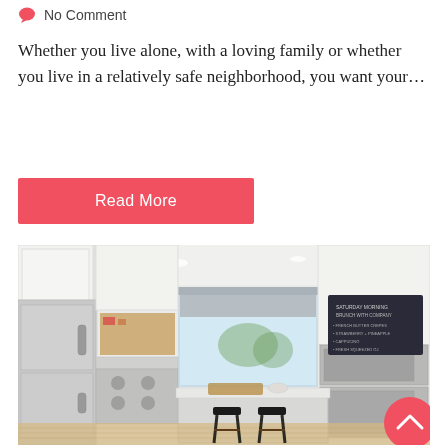No Comment
Whether you live alone, with a loving family or whether you live in a relatively safe neighborhood, you want your…
Read More
[Figure (photo): Modern white kitchen with stainless steel appliances, island with two bar stools, light wood floors, and a chalkboard on the wall]